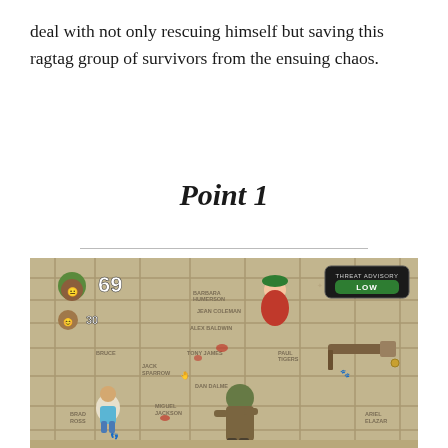deal with not only rescuing himself but saving this ragtag group of survivors from the ensuing chaos.
Point 1
[Figure (screenshot): A top-down video game screenshot showing cartoon characters on a stone tile ground (Hollywood Walk of Fame style). HUD shows player avatar with number 69, another character with 30, and a THREAT ADVISORY: LOW indicator in green. Character names visible on tiles include BRAD ROSS, MIGUEL JACKSON, JACK SPARROW, TONY JAMES, ALEX BALDWIN, PAUL TIGERS, DAN DALME, JEAN COLEMAN, BARBARA HUMERSON, ARIEL ELAZAR. A zombie-like character in a green mask and brown coat stands in the center. A shotgun pickup is visible on the right. A female character in red is in the upper area.]